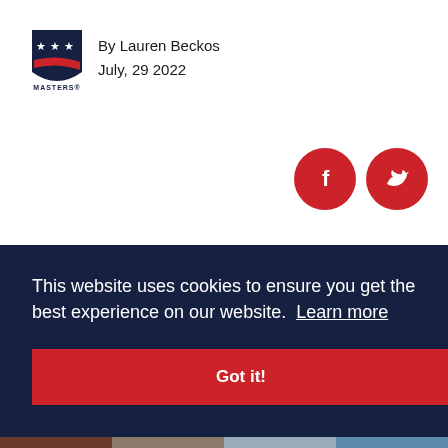[Figure (logo): US Masters skiing logo — shield with stars and red swoosh stripe, text MASTERS below]
By Lauren Beckos
July, 29 2022
[Figure (infographic): Two red circular social media icons: Facebook (f) and Twitter (bird)]
This website uses cookies to ensure you get the best experience on our website. Learn more
Got it!
[Figure (photo): Bottom strip of action sports photos]